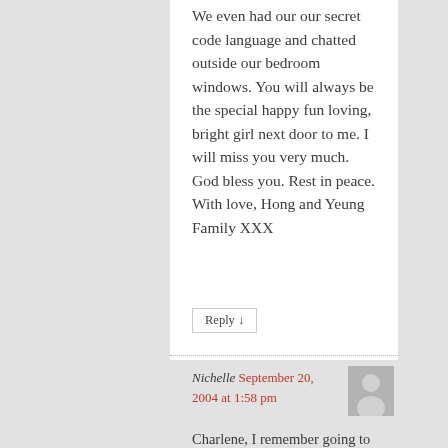We even had our our secret code language and chatted outside our bedroom windows. You will always be the special happy fun loving, bright girl next door to me. I will miss you very much. God bless you. Rest in peace.
With love, Hong and Yeung Family XXX
Reply ↓
Nichelle September 20, 2004 at 1:58 pm
Charlene, I remember going to Miramar High School with you and going